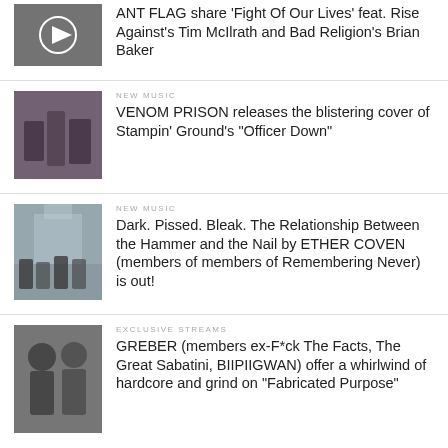[Figure (photo): Black and white band photo with play button overlay, first article thumbnail]
ANT FLAG share 'Fight Of Our Lives' feat. Rise Against's Tim McIlrath and Bad Religion's Brian Baker
[Figure (photo): Color photo of a band group, second article thumbnail]
NEW MUSIC
VENOM PRISON releases the blistering cover of Stampin' Ground's "Officer Down"
[Figure (photo): Photo of band in front of old building, third article thumbnail]
NEW MUSIC
Dark. Pissed. Bleak. The Relationship Between the Hammer and the Nail by ETHER COVEN (members of members of Remembering Never) is out!
[Figure (photo): Black and white photo of two people, fourth article thumbnail]
EXCLUSIVE STREAMS
GREBER (members ex-F*ck The Facts, The Great Sabatini, BIIPIIGWAN) offer a whirlwind of hardcore and grind on "Fabricated Purpose"